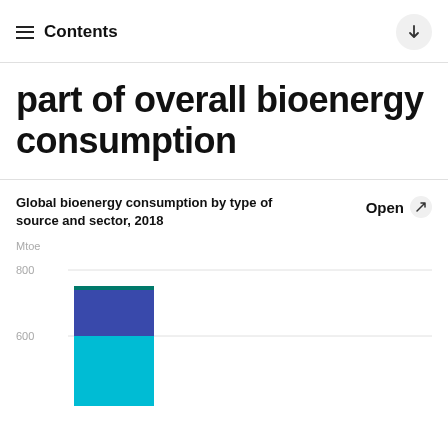Contents
part of overall bioenergy consumption
Global bioenergy consumption by type of source and sector, 2018
[Figure (stacked-bar-chart): Partial stacked bar chart showing global bioenergy consumption. Y-axis shows Mtoe with gridlines at 600 and 800. One bar is visible showing stacked segments in teal/cyan and dark blue colors, reaching approximately 750 Mtoe.]